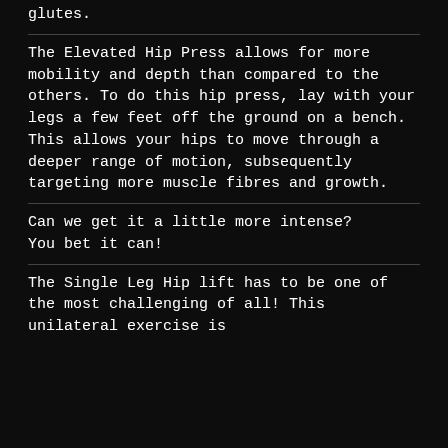glutes.
The Elevated Hip Press allows for more mobility and depth than compared to the others. To do this hip press, lay with your legs a few feet off the ground on a bench. This allows your hips to move through a deeper range of motion, subsequently targeting more muscle fibres and growth.
Can we get it a little more intense?
You bet it can!
The Single Leg Hip lift has to be one of the most challenging of all! This unilateral exercise is